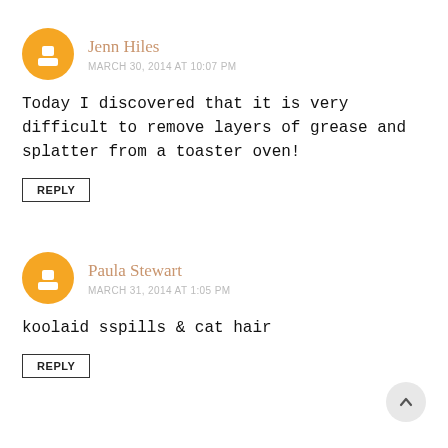Jenn Hiles
MARCH 30, 2014 AT 10:07 PM
Today I discovered that it is very difficult to remove layers of grease and splatter from a toaster oven!
REPLY
Paula Stewart
MARCH 31, 2014 AT 1:05 PM
koolaid sspills & cat hair
REPLY